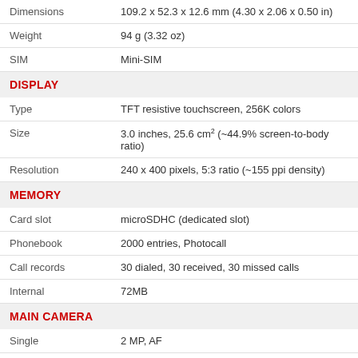| Dimensions | 109.2 x 52.3 x 12.6 mm (4.30 x 2.06 x 0.50 in) |
| Weight | 94 g (3.32 oz) |
| SIM | Mini-SIM |
DISPLAY
| Type | TFT resistive touchscreen, 256K colors |
| Size | 3.0 inches, 25.6 cm² (~44.9% screen-to-body ratio) |
| Resolution | 240 x 400 pixels, 5:3 ratio (~155 ppi density) |
MEMORY
| Card slot | microSDHC (dedicated slot) |
| Phonebook | 2000 entries, Photocall |
| Call records | 30 dialed, 30 received, 30 missed calls |
| Internal | 72MB |
MAIN CAMERA
| Single | 2 MP, AF |
| Video | Yes |
SELFIE CAMERA